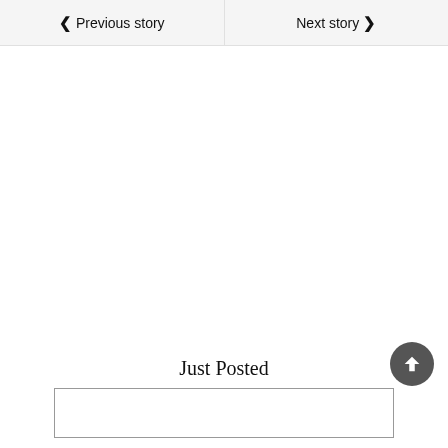❮ Previous story
Next story ❯
Just Posted
[Figure (other): Empty content box / input area below Just Posted section]